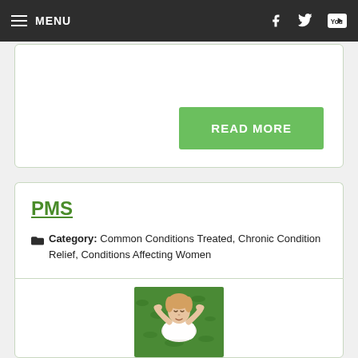MENU
[Figure (other): Green READ MORE button on white card]
PMS
Category: Common Conditions Treated, Chronic Condition Relief, Conditions Affecting Women
[Figure (photo): Woman lying on grass with hands behind head, eyes closed, wearing white top]